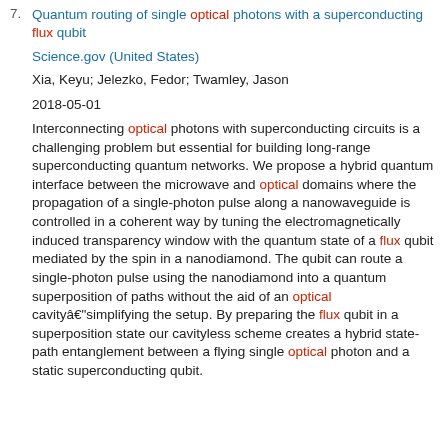7. Quantum routing of single optical photons with a superconducting flux qubit
Science.gov (United States)
Xia, Keyu; Jelezko, Fedor; Twamley, Jason
2018-05-01
Interconnecting optical photons with superconducting circuits is a challenging problem but essential for building long-range superconducting quantum networks. We propose a hybrid quantum interface between the microwave and optical domains where the propagation of a single-photon pulse along a nanowaveguide is controlled in a coherent way by tuning the electromagnetically induced transparency window with the quantum state of a flux qubit mediated by the spin in a nanodiamond. The qubit can route a single-photon pulse using the nanodiamond into a quantum superposition of paths without the aid of an optical cavityâ€“simplifying the setup. By preparing the flux qubit in a superposition state our cavityless scheme creates a hybrid state-path entanglement between a flying single optical photon and a static superconducting qubit.